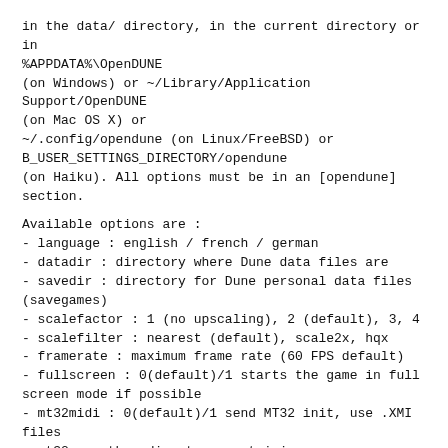in the data/ directory, in the current directory or in %APPDATA%\OpenDUNE (on Windows) or ~/Library/Application Support/OpenDUNE (on Mac OS X) or ~/.config/opendune (on Linux/FreeBSD) or B_USER_SETTINGS_DIRECTORY/opendune (on Haiku). All options must be in an [opendune] section.
Available options are :
- language : english / french / german
- datadir : directory where Dune data files are
- savedir : directory for Dune personal data files (savegames)
- scalefactor : 1 (no upscaling), 2 (default), 3, 4
- scalefilter : nearest (default), scale2x, hqx
- framerate : maximum frame rate (60 FPS default)
- fullscreen : 0(default)/1 starts the game in full screen mode if possible
- mt32midi : 0(default)/1 send MT32 init, use .XMI files
- mt32rompath : directory containing CM32L_CONTROL.ROM/CM32L_PCM.ROM files                  for Munt MT32 emulator.
debug options (for developpers) :
- dune2 enhanced : 0 = game acts like the original Dune